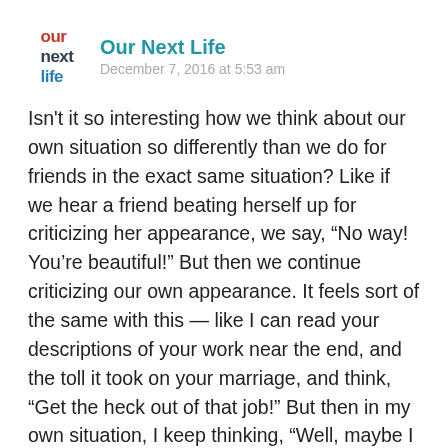Our Next Life — December 7, 2016 at 5:53 am
Isn't it so interesting how we think about our own situation so differently than we do for friends in the exact same situation? Like if we hear a friend beating herself up for criticizing her appearance, we say, “No way! You’re beautiful!” But then we continue criticizing our own appearance. It feels sort of the same with this — like I can read your descriptions of your work near the end, and the toll it took on your marriage, and think, “Get the heck out of that job!” But then in my own situation, I keep thinking, “Well, maybe I can last a little longer…” But you’re right that it’s taking a toll not just on me, but on the relationship as well. And while we